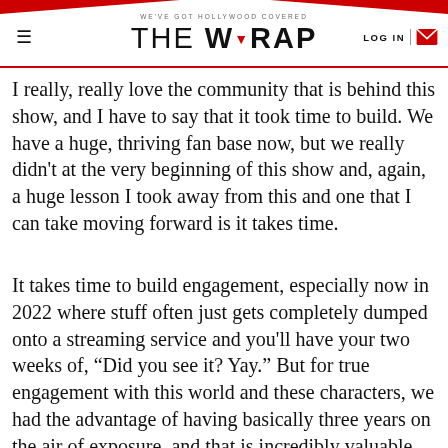WE'VE GOT HOLLYWOOD COVERED / THE WRAP / LOG IN
I really, really love the community that is behind this show, and I have to say that it took time to build. We have a huge, thriving fan base now, but we really didn't at the very beginning of this show and, again, a huge lesson I took away from this and one that I can take moving forward is it takes time.
It takes time to build engagement, especially now in 2022 where stuff often just gets completely dumped onto a streaming service and you'll have your two weeks of, “Did you see it? Yay.” But for true engagement with this world and these characters, we had the advantage of having basically three years on the air of exposure, and that is incredibly valuable